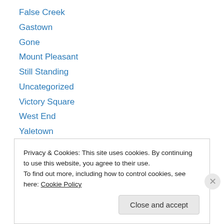False Creek
Gastown
Gone
Mount Pleasant
Still Standing
Uncategorized
Victory Square
West End
Yaletown
Blogroll
Privacy & Cookies: This site uses cookies. By continuing to use this website, you agree to their use.
To find out more, including how to control cookies, see here: Cookie Policy
Close and accept